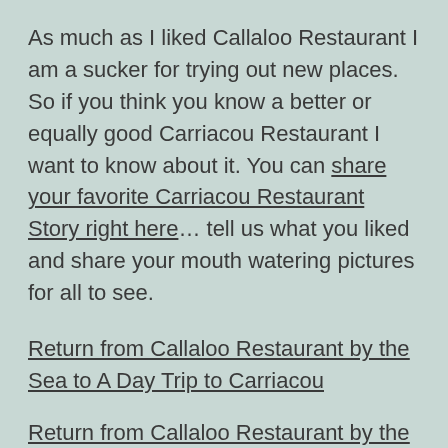As much as I liked Callaloo Restaurant I am a sucker for trying out new places. So if you think you know a better or equally good Carriacou Restaurant I want to know about it. You can share your favorite Carriacou Restaurant Story right here… tell us what you liked and share your mouth watering pictures for all to see.
Return from Callaloo Restaurant by the Sea to A Day Trip to Carriacou
Return from Callaloo Restaurant by the Sea to Grenada Beaches Home